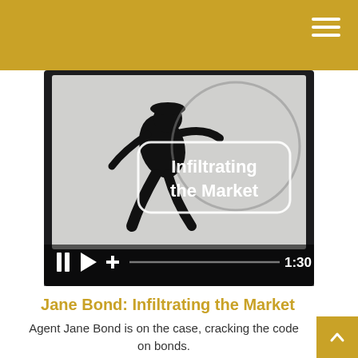[Figure (screenshot): A video thumbnail showing a tablet device displaying a silhouette of a person in an action pose against a light background. Overlaid white rounded-rectangle box with white bold text reading 'Infiltrating the Market'. Below the tablet image is a video player control bar with pause, play, and add icons, a progress bar, and timestamp '1:30'.]
Jane Bond: Infiltrating the Market
Agent Jane Bond is on the case, cracking the code on bonds.